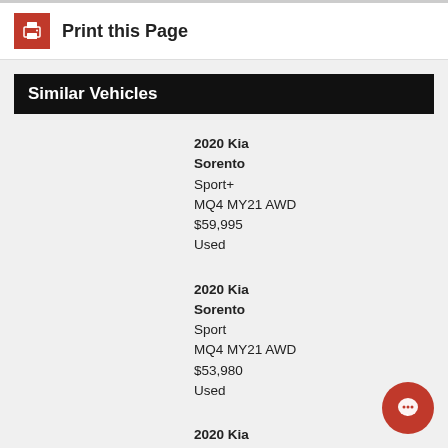Print this Page
Similar Vehicles
2020 Kia Sorento
Sport+
MQ4 MY21 AWD
$59,995
Used
2020 Kia Sorento
Sport
MQ4 MY21 AWD
$53,980
Used
2020 Kia Sorento
Sport+
MQ4 MY21 AWD
$59,984
Used
2021 Kia Sorento